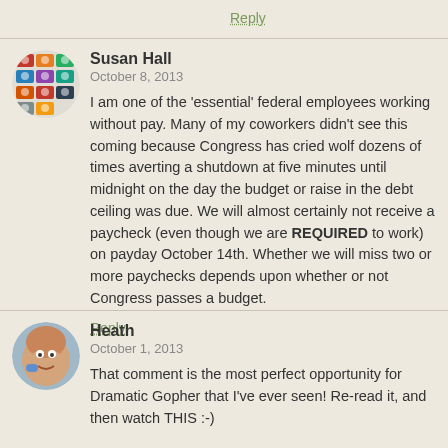Reply
Susan Hall
October 8, 2013
I am one of the 'essential' federal employees working without pay. Many of my coworkers didn't see this coming because Congress has cried wolf dozens of times averting a shutdown at five minutes until midnight on the day the budget or raise in the debt ceiling was due. We will almost certainly not receive a paycheck (even though we are REQUIRED to work) on payday October 14th. Whether we will miss two or more paychecks depends upon whether or not Congress passes a budget.
Reply
Heath
October 1, 2013
That comment is the most perfect opportunity for Dramatic Gopher that I've ever seen! Re-read it, and then watch THIS :-)